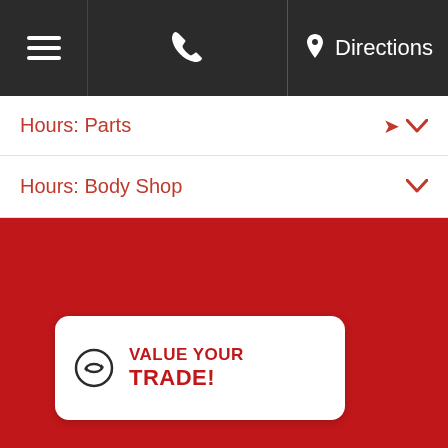[Figure (screenshot): Mobile navigation bar with hamburger menu, phone icon, and Directions link on dark background]
Hours: Parts
Hours: Body Shop
[Figure (other): Large red background area]
VALUE YOUR TRADE!